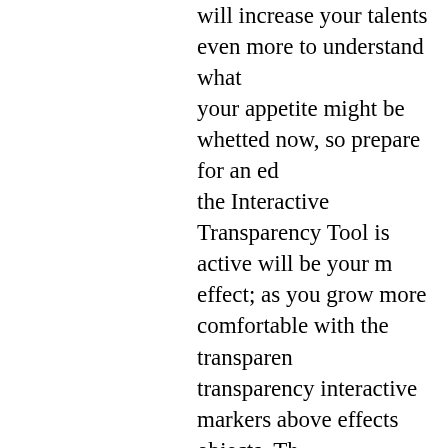will increase your talents even more to understand what your appetite might be whetted now, so prepare for an ed the Interactive Transparency Tool is active will be your m effect; as you grow more comfortable with the transparen transparency interactive markers above effects objects. Th regular object fills by category) and 19 available transpar and blending modes in Corel Painter and other graphics a fills can offer as well as an explanation of the merge mod
winforms qr code
using barcode printer for .net windows forms control to g forms applications. window BusinessRefinery.com/QR Code 2d barcode to create qrcode and qr code 2d barcode data, size, image BusinessRefinery.com/QR Code 2d barcode Route summarization is the ability to take a bunch of con and advertise these contiguous routes as a single summar summarize subnetted routes back to the class boundary. F subnetted it to 192.168.1.0/26, giving you four networks, routing table and advertise them as the Class C network n In this example, the routing entries are reduced from four the preceding example that the same class network, 192.1 255.255.255.192 and 255.255.255.0.
sap crystal reports qr code
use .net qr drawer to add qr on .net parser BusinessRefinery.com/QR using panel word to insert qr code in asp.net web windo